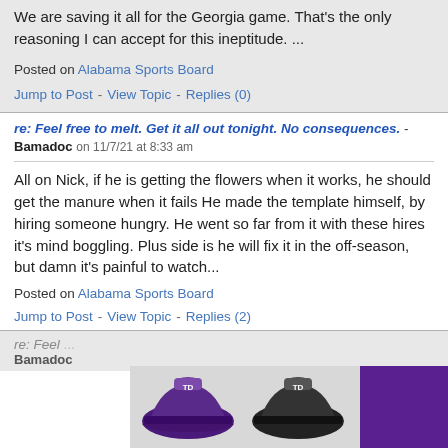We are saving it all for the Georgia game. That's the only reasoning I can accept for this ineptitude. ...
Posted on Alabama Sports Board
Jump to Post - View Topic - Replies (0)
re: Feel free to melt. Get it all out tonight. No consequences. - Bamadoc on 11/7/21 at 8:33 am
All on Nick, if he is getting the flowers when it works, he should get the manure when it fails He made the template himself, by hiring someone hungry. He went so far from it with these hires it's mind boggling. Plus side is he will fix it in the off-season, but damn it's painful to watch...
Posted on Alabama Sports Board
Jump to Post - View Topic - Replies (2)
re: Feel... Bamadoc...
[Figure (infographic): Advertisement banner showing two baseball caps (purple and black with 'TD' logo) and a purple 'SHOP NOW' button]